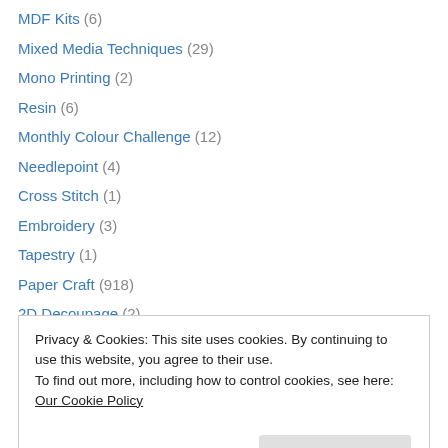MDF Kits (6)
Mixed Media Techniques (29)
Mono Printing (2)
Resin (6)
Monthly Colour Challenge (12)
Needlepoint (4)
Cross Stitch (1)
Embroidery (3)
Tapestry (1)
Paper Craft (918)
2D Decoupage (2)
3D Decoupage (10)
3D Paper Projects (52)
Privacy & Cookies: This site uses cookies. By continuing to use this website, you agree to their use. To find out more, including how to control cookies, see here: Our Cookie Policy
Colouring (177)